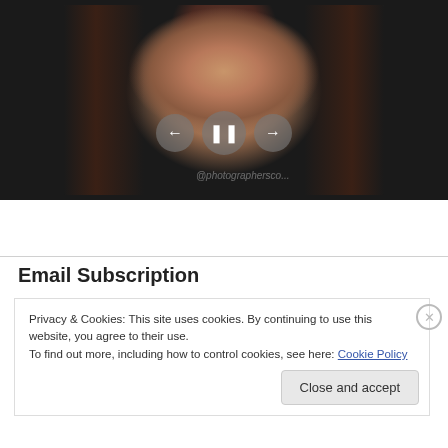[Figure (photo): Portrait photo of a young woman with brown hair and bangs, displayed in a dark slideshow viewer with previous/pause/next controls and a watermark]
Email Subscription
Privacy & Cookies: This site uses cookies. By continuing to use this website, you agree to their use.
To find out more, including how to control cookies, see here: Cookie Policy
Close and accept